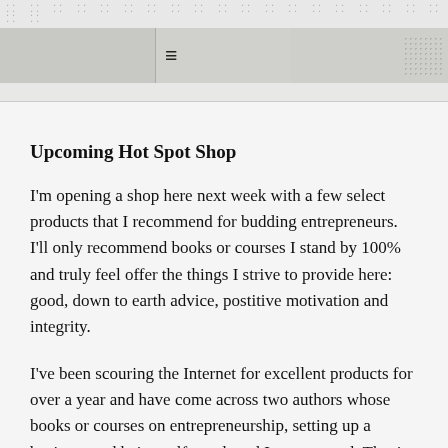≡ [navigation bar with hamburger menu and textured background]
Upcoming Hot Spot Shop
I'm opening a shop here next week with a few select products that I recommend for budding entrepreneurs. I'll only recommend books or courses I stand by 100% and truly feel offer the things I strive to provide here: good, down to earth advice, postitive motivation and integrity.
I've been scouring the Internet for excellent products for over a year and have come across two authors whose books or courses on entrepreneurship, setting up a business and being self-employed I recommend. They're the hottest products available and I'm looking forward to sharing them with you.